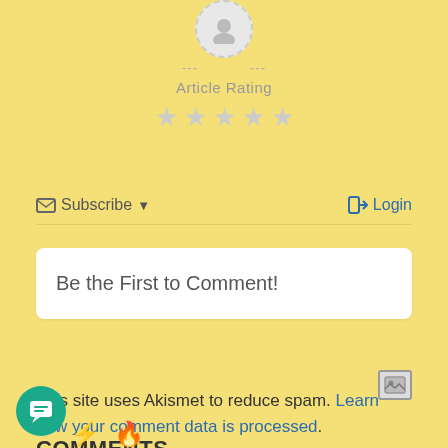[Figure (illustration): Avatar circle with dashed border and dashes on either side, with Article Rating label and 5 gray stars below]
Subscribe ▼
➡ Login
Be the First to Comment!
This site uses Akismet to reduce spam. Learn how your comment data is processed.
COMMENTS